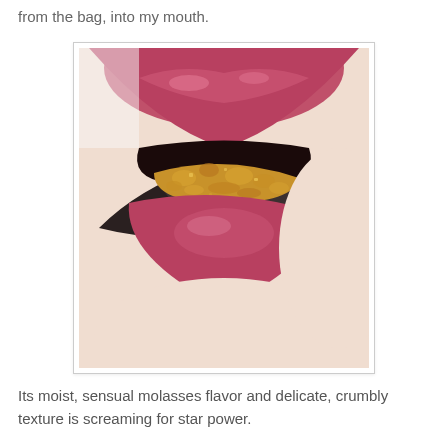from the bag, into my mouth.
[Figure (photo): Close-up photo of lips with pink/red lipstick, with a dark spoon holding golden-brown sugar or similar granular substance being placed into the mouth.]
Its moist, sensual molasses flavor and delicate, crumbly texture is screaming for star power.